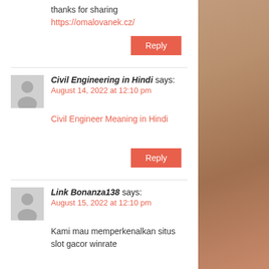thanks for sharing
https://omalovanek.cz/
Reply
Civil Engineering in Hindi says:
August 14, 2022 at 12:10 pm
Civil Engineer Meaning in Hindi
Reply
Link Bonanza138 says:
August 15, 2022 at 12:10 pm
Kami mau memperkenalkan situs slot gacor winrate